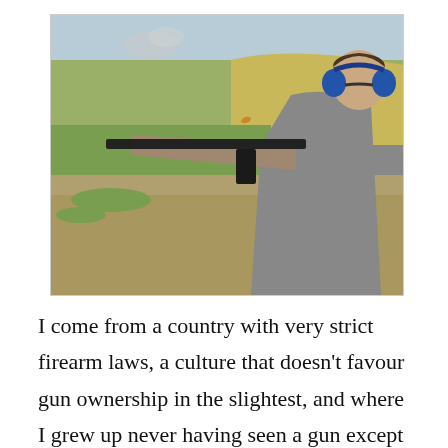[Figure (photo): A man wearing a grey t-shirt and blue ear protection headphones firing a semi-automatic rifle at an outdoor shooting range. He is aiming to the left. A spent shell casing is visible ejecting from the gun. The background shows dry grassy hills and scrubland under a light sky.]
I come from a country with very strict firearm laws, a culture that doesn't favour gun ownership in the slightest, and where I grew up never having seen a gun except on the belts of